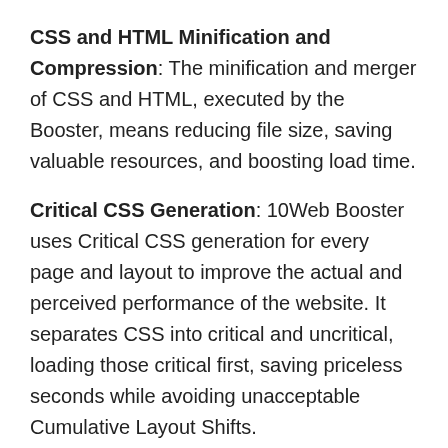CSS and HTML Minification and Compression: The minification and merger of CSS and HTML, executed by the Booster, means reducing file size, saving valuable resources, and boosting load time.
Critical CSS Generation: 10Web Booster uses Critical CSS generation for every page and layout to improve the actual and perceived performance of the website. It separates CSS into critical and uncritical, loading those critical first, saving priceless seconds while avoiding unacceptable Cumulative Layout Shifts.
Other Web Efficiency Features: Lastly, a font swap is used, which reduces and optimizes how